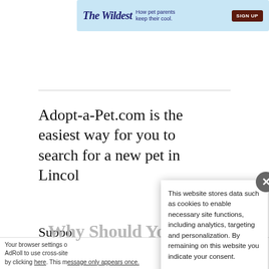[Figure (other): The Wildest advertisement banner — blue background with logo, tagline 'How pet parents keep their cool.', and SIGN UP button]
Adopt-a-Pet.com is the easiest way for you to search for a new pet in Lincoln
Support text beginning with 'Suppo...' (partially obscured by cookie popup)
This website stores data such as cookies to enable necessary site functions, including analytics, targeting and personalization. By remaining on this website you indicate your consent.
Cookie Policy
Your browser settings o... AdRoll to use cross-site... by clicking here. This message only appears once.
Why Should You Adopt?